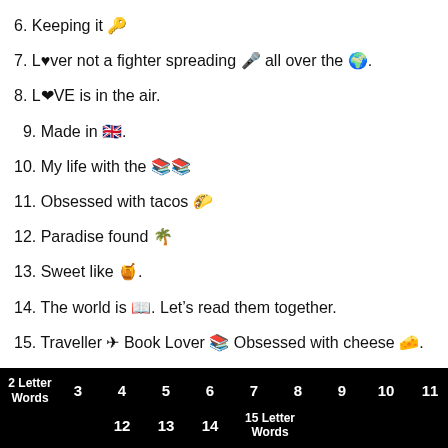6. Keeping it 🔑
7. L♥ver not a fighter spreading 🎤 all over the 🌍.
8. L❤VE is in the air.
9. Made in 🇬🇧.
10. My life with the 📚📚
11. Obsessed with tacos 🌮
12. Paradise found 🌴
13. Sweet like 🍯.
14. The world is 📖. Let's read them together.
15. Traveller ✈ Book Lover 📚 Obsessed with cheese 🧀.
16. Welcome to my 🌟dom.
2 Letter Words  3  4  5  6  7  8  9  10  11  12  13  14  15 Letter Words